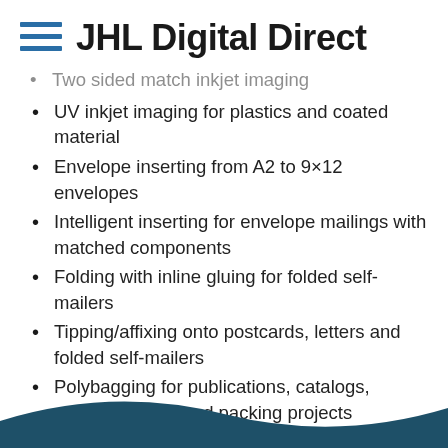JHL Digital Direct
Two sided match inkjet imaging
UV inkjet imaging for plastics and coated material
Envelope inserting from A2 to 9×12 envelopes
Intelligent inserting for envelope mailings with matched components
Folding with inline gluing for folded self-mailers
Tipping/affixing onto postcards, letters and folded self-mailers
Polybagging for publications, catalogs, annual reports, and packing projects